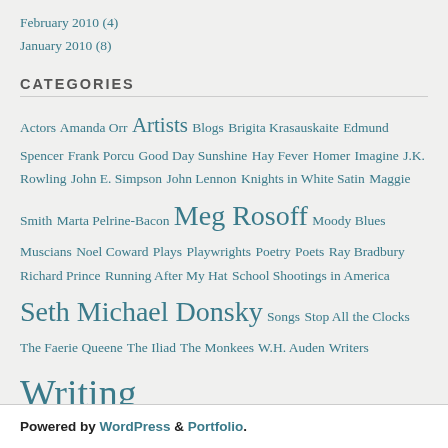February 2010 (4)
January 2010 (8)
CATEGORIES
Actors Amanda Orr Artists Blogs Brigita Krasauskaite Edmund Spencer Frank Porcu Good Day Sunshine Hay Fever Homer Imagine J.K. Rowling John E. Simpson John Lennon Knights in White Satin Maggie Smith Marta Pelrine-Bacon Meg Rosoff Moody Blues Muscians Noel Coward Plays Playwrights Poetry Poets Ray Bradbury Richard Prince Running After My Hat School Shootings in America Seth Michael Donsky Songs Stop All the Clocks The Faerie Queene The Iliad The Monkees W.H. Auden Writers Writing
Powered by WordPress & Portfolio.